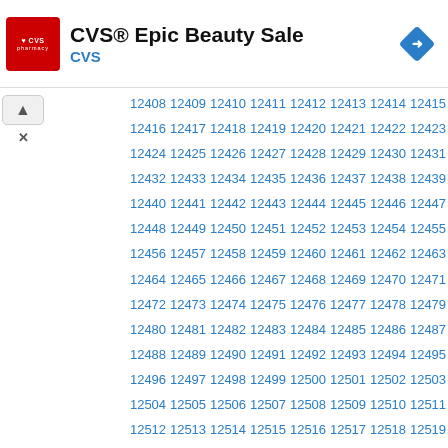CVS® Epic Beauty Sale CVS
| 12408 | 12409 | 12410 | 12411 | 12412 | 12413 | 12414 | 12415 |
| 12416 | 12417 | 12418 | 12419 | 12420 | 12421 | 12422 | 12423 |
| 12424 | 12425 | 12426 | 12427 | 12428 | 12429 | 12430 | 12431 |
| 12432 | 12433 | 12434 | 12435 | 12436 | 12437 | 12438 | 12439 |
| 12440 | 12441 | 12442 | 12443 | 12444 | 12445 | 12446 | 12447 |
| 12448 | 12449 | 12450 | 12451 | 12452 | 12453 | 12454 | 12455 |
| 12456 | 12457 | 12458 | 12459 | 12460 | 12461 | 12462 | 12463 |
| 12464 | 12465 | 12466 | 12467 | 12468 | 12469 | 12470 | 12471 |
| 12472 | 12473 | 12474 | 12475 | 12476 | 12477 | 12478 | 12479 |
| 12480 | 12481 | 12482 | 12483 | 12484 | 12485 | 12486 | 12487 |
| 12488 | 12489 | 12490 | 12491 | 12492 | 12493 | 12494 | 12495 |
| 12496 | 12497 | 12498 | 12499 | 12500 | 12501 | 12502 | 12503 |
| 12504 | 12505 | 12506 | 12507 | 12508 | 12509 | 12510 | 12511 |
| 12512 | 12513 | 12514 | 12515 | 12516 | 12517 | 12518 | 12519 |
| 12520 | 12521 | 12522 | 12523 | 12524 | 12525 | 12526 | 12527 |
| 12528 | 12529 | 12530 | 12531 | 12532 | 12533 | 12534 | 12535 |
| 12536 | 12537 | 12538 | 12539 | 12540 | 12541 | 12542 | 12543 |
| 12544 | 12545 | 12546 | 12547 | 12548 | 12549 | 12550 | 12551 |